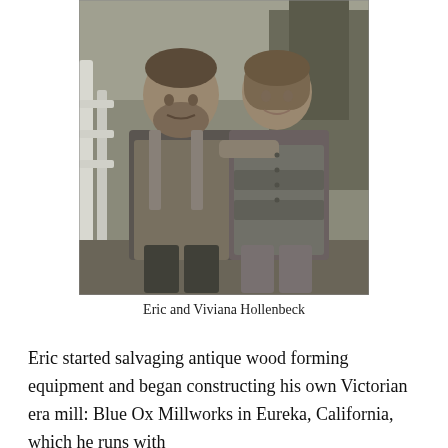[Figure (photo): Black and white photograph of Eric and Viviana Hollenbeck standing together outdoors. Eric is on the left wearing overalls and a dark shirt; Viviana is on the right wearing a button-up sweater. Trees and a white railing are visible in the background.]
Eric and Viviana Hollenbeck
Eric started salvaging antique wood forming equipment and began constructing his own Victorian era mill: Blue Ox Millworks in Eureka, California, which he runs with